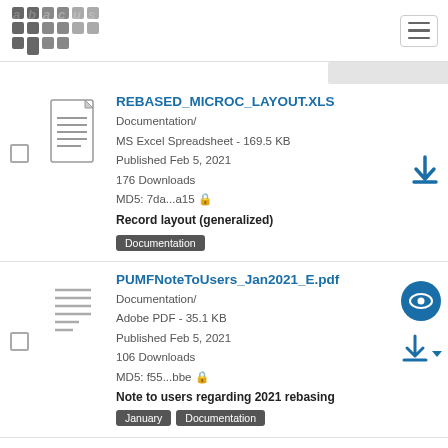abacus
[Figure (screenshot): File listing item: REBASED_MICROC_LAYOUT.XLS, Documentation/, MS Excel Spreadsheet - 169.5 KB, Published Feb 5, 2021, 176 Downloads, MD5: 7da...a15, Record layout (generalized), Tags: Documentation]
[Figure (screenshot): File listing item: PUMFNoteToUsers_Jan2021_E.pdf, Documentation/, Adobe PDF - 35.1 KB, Published Feb 5, 2021, 106 Downloads, MD5: f55...bbe, Note to users regarding 2021 rebasing, Tags: January, Documentation]
[Figure (screenshot): File listing item: micro2021-12.zip, Data/, Unknown - 1.9 MB, Published Jan 7, 2022]